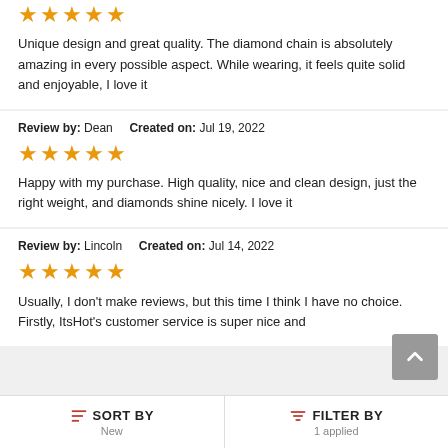★★★★★
Unique design and great quality. The diamond chain is absolutely amazing in every possible aspect. While wearing, it feels quite solid and enjoyable, I love it
Review by: Dean    Created on: Jul 19, 2022
★★★★★
Happy with my purchase. High quality, nice and clean design, just the right weight, and diamonds shine nicely. I love it
Review by: Lincoln    Created on: Jul 14, 2022
★★★★★
Usually, I don't make reviews, but this time I think I have no choice. Firstly, ItsHot's customer service is super nice and
SORT BY
New
FILTER BY
1 applied